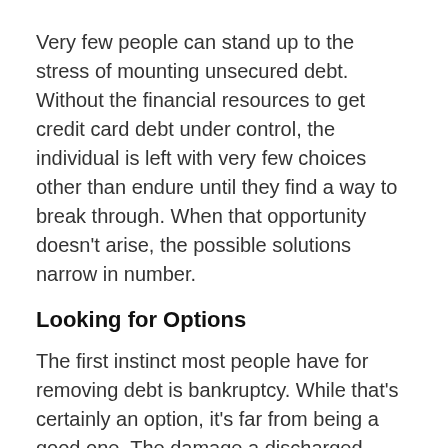Very few people can stand up to the stress of mounting unsecured debt. Without the financial resources to get credit card debt under control, the individual is left with very few choices other than endure until they find a way to break through. When that opportunity doesn't arise, the possible solutions narrow in number.
Looking for Options
The first instinct most people have for removing debt is bankruptcy. While that's certainly an option, it's far from being a good one. The damage a discharged bankruptcy does to someone's financial world for upwards of 10 years is tremendously burdensome. Still, it's an option